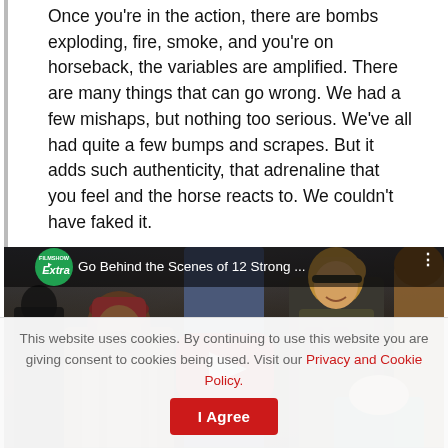Once you're in the action, there are bombs exploding, fire, smoke, and you're on horseback, the variables are amplified. There are many things that can go wrong. We had a few mishaps, but nothing too serious. We've all had quite a few bumps and scrapes. But it adds such authenticity, that adrenaline that you feel and the horse reacts to. We couldn't have faked it.
[Figure (screenshot): YouTube video thumbnail showing behind-the-scenes footage of the movie '12 Strong' with actors in military gear on a rocky outdoor set. Title reads 'Go Behind the Scenes of 12 Strong ...' with a FilmShow Extra badge and YouTube play button.]
This website uses cookies. By continuing to use this website you are giving consent to cookies being used. Visit our Privacy and Cookie Policy.